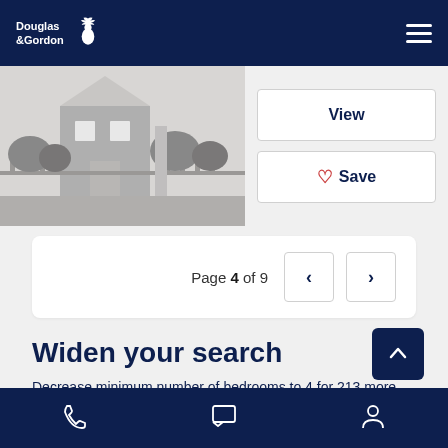Douglas & Gordon
[Figure (photo): Black and white photo of a residential property exterior with fence and plants]
View
Save
Page 4 of 9
Widen your search
Decrease minimum number of bedrooms to 4 for 213 more results.
Phone | Chat | Account